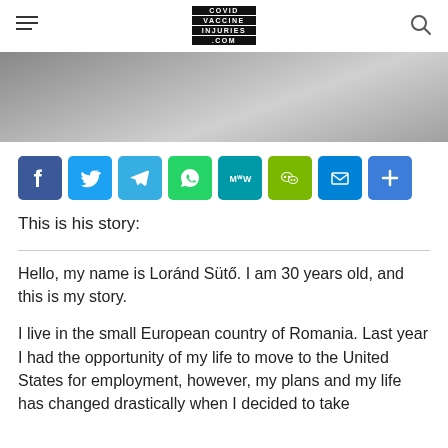COVID VACCINE INJURIES .COM
[Figure (photo): Black and white partial photo of a person, cropped at top portion of page]
[Figure (infographic): Row of social sharing buttons: Facebook, Twitter, Telegram, WhatsApp, MeWe, WeChat, Email, Share]
This is his story:
Hello, my name is Loránd Sütő. I am 30 years old, and this is my story.
I live in the small European country of Romania. Last year I had the opportunity of my life to move to the United States for employment, however, my plans and my life has changed drastically when I decided to take